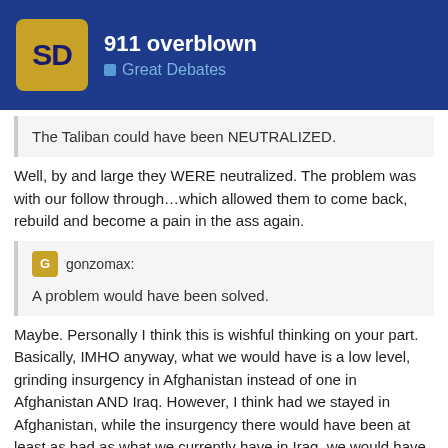911 overblown — Great Debates
The Taliban could have been NEUTRALIZED.
Well, by and large they WERE neutralized. The problem was with our follow through…which allowed them to come back, rebuild and become a pain in the ass again.
gonzomax: A problem would have been solved.
Maybe. Personally I think this is wishful thinking on your part. Basically, IMHO anyway, what we would have is a low level, grinding insurgency in Afghanistan instead of one in Afghanistan AND Iraq. However, I think had we stayed in Afghanistan, while the insurgency there would have been at least as bad as what we currently have in Iraq, we would have had more international support…and perhaps the situation would have been more contained. Or maybe not…we'll never know…it's all speculation.
20 / 52